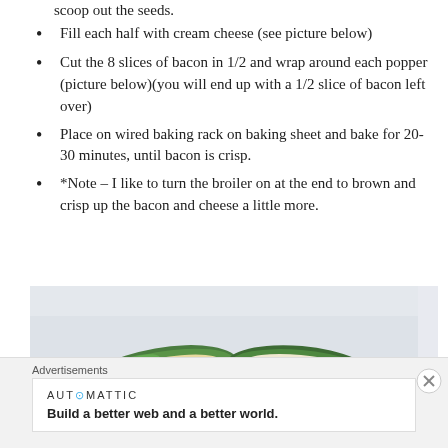scoop out the seeds.
Fill each half with cream cheese (see picture below)
Cut the 8 slices of bacon in 1/2 and wrap around each popper (picture below)(you will end up with a 1/2 slice of bacon left over)
Place on wired baking rack on baking sheet and bake for 20-30 minutes, until bacon is crisp.
*Note – I like to turn the broiler on at the end to brown and crisp up the bacon and cheese a little more.
[Figure (photo): Photo of jalapeño halves filled with cream cheese on a white surface]
Advertisements
AUTOMATTIC
Build a better web and a better world.